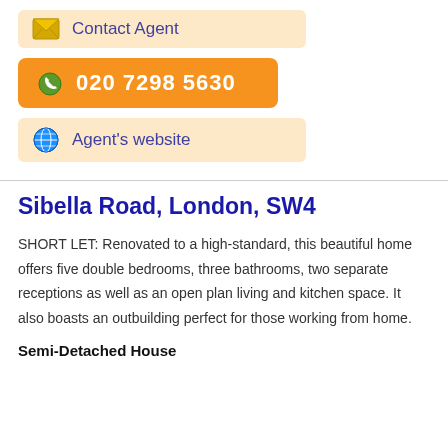Contact Agent
020 7298 5630
Agent's website
Sibella Road, London, SW4
SHORT LET: Renovated to a high-standard, this beautiful home offers five double bedrooms, three bathrooms, two separate receptions as well as an open plan living and kitchen space. It also boasts an outbuilding perfect for those working from home.
Semi-Detached House